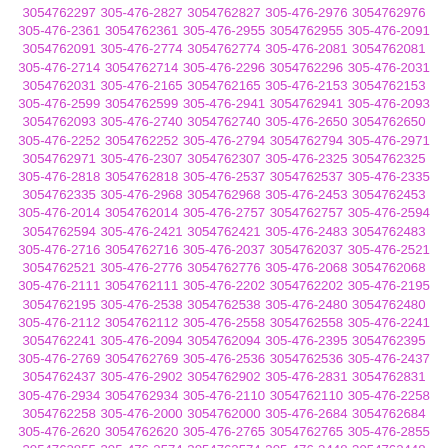3054762297 305-476-2827 3054762827 305-476-2976 3054762976 305-476-2361 3054762361 305-476-2955 3054762955 305-476-2091 3054762091 305-476-2774 3054762774 305-476-2081 3054762081 305-476-2714 3054762714 305-476-2296 3054762296 305-476-2031 3054762031 305-476-2165 3054762165 305-476-2153 3054762153 305-476-2599 3054762599 305-476-2941 3054762941 305-476-2093 3054762093 305-476-2740 3054762740 305-476-2650 3054762650 305-476-2252 3054762252 305-476-2794 3054762794 305-476-2971 3054762971 305-476-2307 3054762307 305-476-2325 3054762325 305-476-2818 3054762818 305-476-2537 3054762537 305-476-2335 3054762335 305-476-2968 3054762968 305-476-2453 3054762453 305-476-2014 3054762014 305-476-2757 3054762757 305-476-2594 3054762594 305-476-2421 3054762421 305-476-2483 3054762483 305-476-2716 3054762716 305-476-2037 3054762037 305-476-2521 3054762521 305-476-2776 3054762776 305-476-2068 3054762068 305-476-2111 3054762111 305-476-2202 3054762202 305-476-2195 3054762195 305-476-2538 3054762538 305-476-2480 3054762480 305-476-2112 3054762112 305-476-2558 3054762558 305-476-2241 3054762241 305-476-2094 3054762094 305-476-2395 3054762395 305-476-2769 3054762769 305-476-2536 3054762536 305-476-2437 3054762437 305-476-2902 3054762902 305-476-2831 3054762831 305-476-2934 3054762934 305-476-2110 3054762110 305-476-2258 3054762258 305-476-2000 3054762000 305-476-2684 3054762684 305-476-2620 3054762620 305-476-2765 3054762765 305-476-2855 3054762855 305-476-2574 3054762574 305-476-2448 3054762448